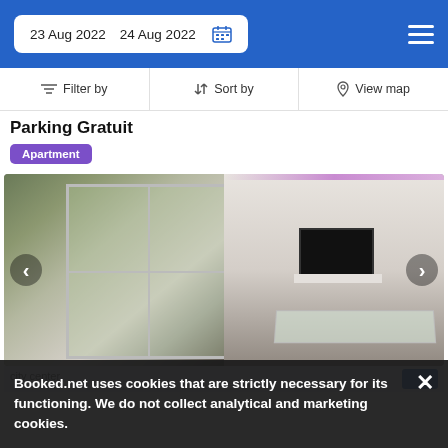23 Aug 2022  24 Aug 2022
Filter by  Sort by  View map
Parking Gratuit
Apartment
[Figure (photo): Interior of a modern apartment showing large glass doors opening to a balcony on the left side, and a living area with a TV on a white cabinet and a glass table on the right side, with purple LED lighting along the ceiling.]
Booked.net uses cookies that are strictly necessary for its functioning. We do not collect analytical and marketing cookies.